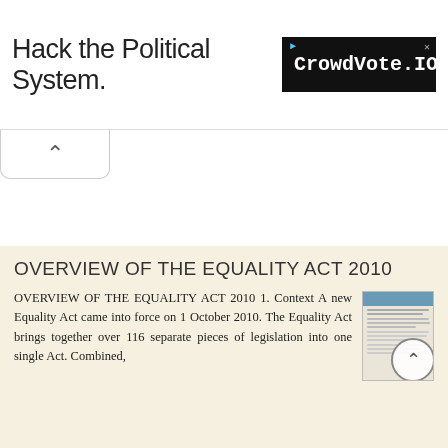[Figure (screenshot): Advertisement banner: 'Hack the Political System.' on left, 'CrowdVote.IO' logo in black box on right with play arrow icon and close X button]
[Figure (screenshot): A tab/chevron up-arrow button below the ad banner]
OVERVIEW OF THE EQUALITY ACT 2010
OVERVIEW OF THE EQUALITY ACT 2010 1. Context A new Equality Act came into force on 1 October 2010. The Equality Act brings together over 116 separate pieces of legislation into one single Act. Combined,
[Figure (screenshot): Thumbnail preview image of an Equality Act 2010 document page with blue header and text lines]